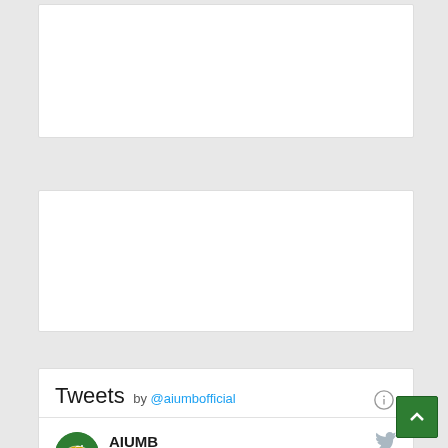[Figure (other): White card/panel at top of page (partially visible, blank content area)]
[Figure (other): White card/panel in middle of page (blank content area)]
Tweets by @aiumbofficial
AIUMB @aiumbofficial
#...News #HindiNewspaper #...atNizamuddinAulia #PeerKhwajaAhmadNizami #AIUMB #syedmohammadashraf #India 🇮🇳 #Muslims #WSF #world_sufi_forum